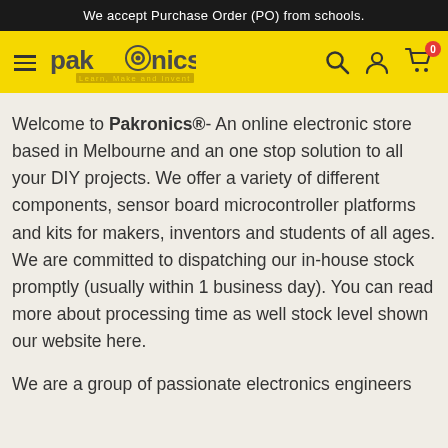We accept Purchase Order (PO) from schools.
[Figure (logo): Pakronics logo with hamburger menu, search, account, and cart icons on a yellow navigation bar]
Welcome to Pakronics®- An online electronic store based in Melbourne and an one stop solution to all your DIY projects. We offer a variety of different components, sensor board microcontroller platforms and kits for makers, inventors and students of all ages. We are committed to dispatching our in-house stock promptly (usually within 1 business day). You can read more about processing time as well stock level shown our website here.

We are a group of passionate electronics engineers